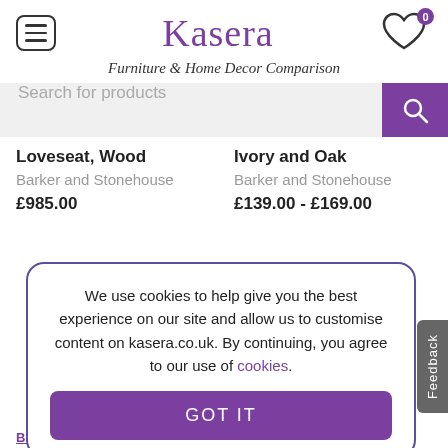Kasera — Furniture & Home Decor Comparison
Search for products
Loveseat, Wood
Barker and Stonehouse
£985.00
Ivory and Oak
Barker and Stonehouse
£139.00 - £169.00
We use cookies to help give you the best experience on our site and allow us to customise content on kasera.co.uk. By continuing, you agree to our use of cookies.
GOT IT
Feedback